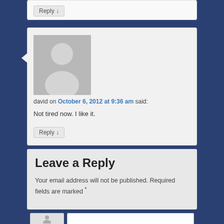Reply ↓
[Figure (photo): User avatar placeholder showing a gray silhouette of a person]
david on October 6, 2012 at 9:36 am said:
Not tired now. I like it.
Reply ↓
Leave a Reply
Your email address will not be published. Required fields are marked *